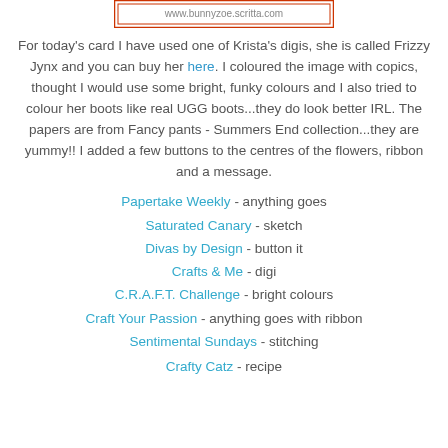[Figure (other): A logo/banner image showing a website URL www.bunnyzoe.scritta.com with a decorative orange/red border]
For today's card I have used one of Krista's digis, she is called Frizzy Jynx and you can buy her here. I coloured the image with copics, thought I would use some bright, funky colours and I also tried to colour her boots like real UGG boots...they do look better IRL. The papers are from Fancy pants - Summers End collection...they are yummy!! I added a few buttons to the centres of the flowers, ribbon and a message.
Papertake Weekly - anything goes
Saturated Canary - sketch
Divas by Design - button it
Crafts & Me - digi
C.R.A.F.T. Challenge - bright colours
Craft Your Passion - anything goes with ribbon
Sentimental Sundays - stitching
Crafty Catz - recipe